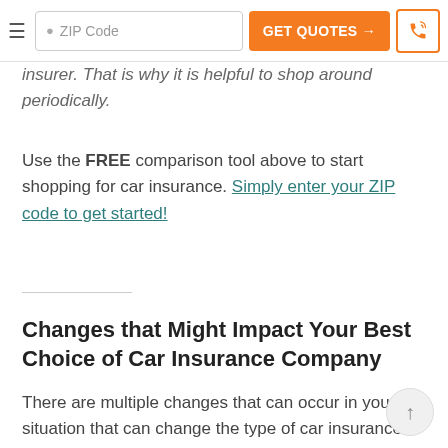ZIP Code  GET QUOTES →  [phone icon]
insurer. That is why it is helpful to shop around periodically.
Use the FREE comparison tool above to start shopping for car insurance. Simply enter your ZIP code to get started!
Changes that Might Impact Your Best Choice of Car Insurance Company
There are multiple changes that can occur in your situation that can change the type of car insurance premiums you receive. Some of these things can